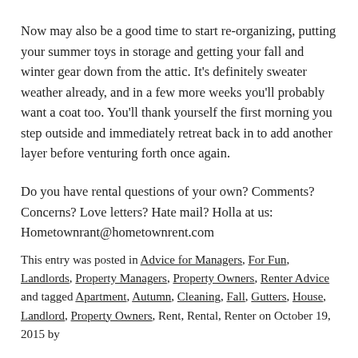Now may also be a good time to start re-organizing, putting your summer toys in storage and getting your fall and winter gear down from the attic. It's definitely sweater weather already, and in a few more weeks you'll probably want a coat too. You'll thank yourself the first morning you step outside and immediately retreat back in to add another layer before venturing forth once again.
Do you have rental questions of your own? Comments? Concerns? Love letters? Hate mail? Holla at us: Hometownrant@hometownrent.com
This entry was posted in Advice for Managers, For Fun, Landlords, Property Managers, Property Owners, Renter Advice and tagged Apartment, Autumn, Cleaning, Fall, Gutters, House, Landlord, Property Owners, Rent, Rental, Renter on October 19, 2015 by